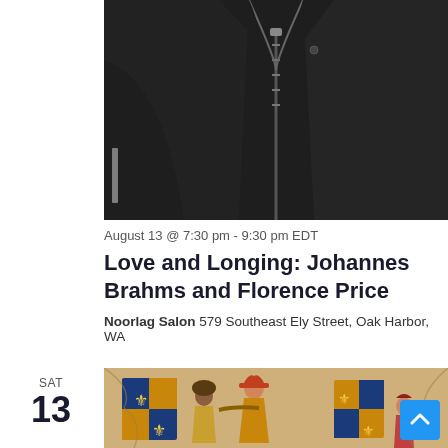[Figure (photo): Photograph of a black zip-up jacket/hoodie against a dark background, partially cropped]
August 13 @ 7:30 pm - 9:30 pm EDT
Love and Longing: Johannes Brahms and Florence Price
Noorlag Salon 579 Southeast Ely Street, Oak Harbor, WA
SAT
13
[Figure (illustration): Medieval illuminated manuscript illustration showing figures with heraldic shields and instruments]